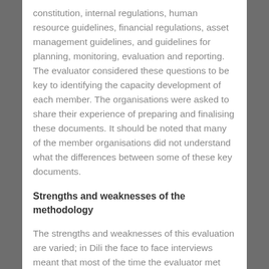constitution, internal regulations, human resource guidelines, financial regulations, asset management guidelines, and guidelines for planning, monitoring, evaluation and reporting. The evaluator considered these questions to be key to identifying the capacity development of each member. The organisations were asked to share their experience of preparing and finalising these documents. It should be noted that many of the member organisations did not understand what the differences between some of these key documents.
Strengths and weaknesses of the methodology
The strengths and weaknesses of this evaluation are varied; in Dili the face to face interviews meant that most of the time the evaluator met only with the Director him/herself, or just the program manager or even sometimes with just one staff member alone